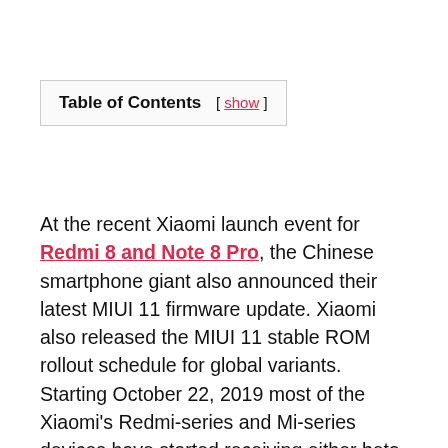Table of Contents [ show ]
At the recent Xiaomi launch event for Redmi 8 and Note 8 Pro, the Chinese smartphone giant also announced their latest MIUI 11 firmware update. Xiaomi also released the MIUI 11 stable ROM rollout schedule for global variants. Starting October 22, 2019 most of the Xiaomi's Redmi-series and Mi-series devices have started receiving either beta or stable versions of MIUI 11 ROMs. This list includes the Xiaomi Redmi K20 Pro, Poco F1, Redmi Note 7, Redmi Note 7 Pro, Mi 9, Mi 8, Note 8 Pro, Redmi 8/8A, Mi Note 2, Mi Mix, Mi Max 2, Redmi 6A, Redmi 6, Note